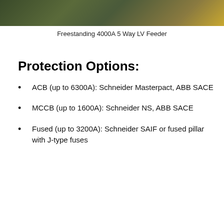[Figure (photo): Cropped bottom portion of a photo showing a Freestanding 4000A 5 Way LV Feeder electrical panel/cabinet]
Freestanding 4000A 5 Way LV Feeder
Protection Options:
ACB (up to 6300A): Schneider Masterpact, ABB SACE
MCCB (up to 1600A): Schneider NS, ABB SACE
Fused (up to 3200A): Schneider SAIF or fused pillar with J-type fuses